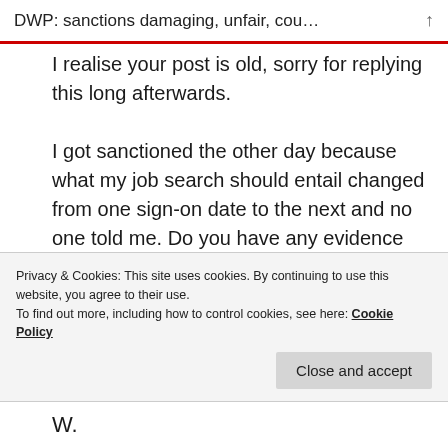DWP: sanctions damaging, unfair, cou…
I realise your post is old, sorry for replying this long afterwards.

I got sanctioned the other day because what my job search should entail changed from one sign-on date to the next and no one told me. Do you have any evidence that an oral job search is acceptable? It might help my case if i can send off the
Privacy & Cookies: This site uses cookies. By continuing to use this website, you agree to their use.
To find out more, including how to control cookies, see here: Cookie Policy
W.